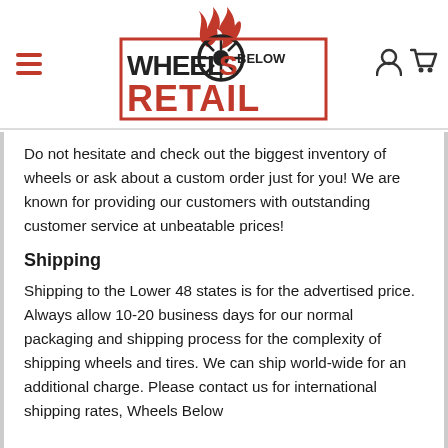Wheels Below Retail — website header with logo, hamburger menu, user icon, and cart icon
Do not hesitate and check out the biggest inventory of wheels or ask about a custom order just for you! We are known for providing our customers with outstanding customer service at unbeatable prices!
Shipping
Shipping to the Lower 48 states is for the advertised price. Always allow 10-20 business days for our normal packaging and shipping process for the complexity of shipping wheels and tires. We can ship world-wide for an additional charge. Please contact us for international shipping rates, Wheels Below